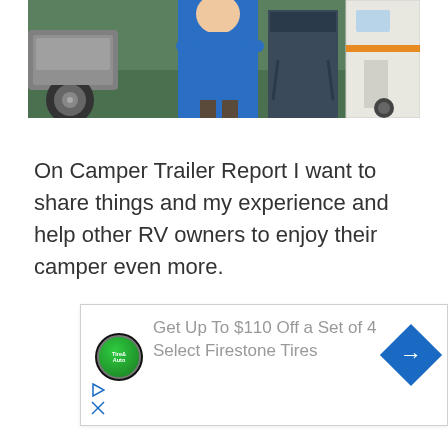[Figure (photo): Outdoor camping scene showing a person in a blue shirt, a car wheel on the left, a dark tent/chairs area in the middle, and a white RV/trailer on the right, set against a green grassy background]
On Camper Trailer Report I want to share things and my experience and help other RV owners to enjoy their camper even more.
[Figure (other): Advertisement banner: 'Get Up To $110 Off a Set of 4 Select Firestone Tires' with a Tire & Auto logo on the left and a blue diamond navigation icon on the right, plus play and close controls at bottom left]